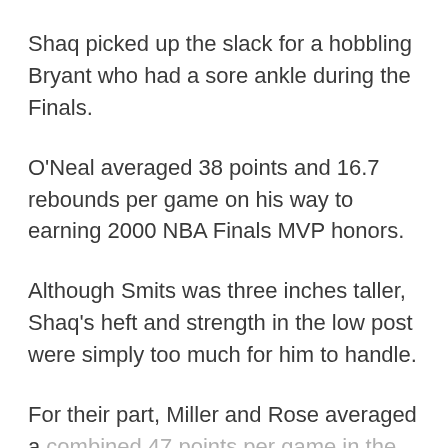Shaq picked up the slack for a hobbling Bryant who had a sore ankle during the Finals.
O'Neal averaged 38 points and 16.7 rebounds per game on his way to earning 2000 NBA Finals MVP honors.
Although Smits was three inches taller, Shaq's heft and strength in the low post were simply too much for him to handle.
For their part, Miller and Rose averaged a combined 47 points per game in the Finals.